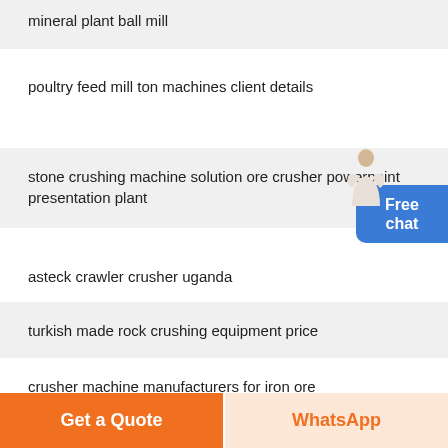mineral plant ball mill
poultry feed mill ton machines client details
stone crushing machine solution ore crusher powerpoint presentation plant
asteck crawler crusher uganda
turkish made rock crushing equipment price
crusher machine manufacturers for iron ore